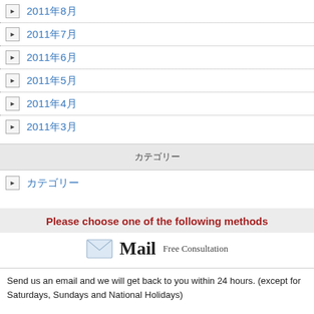2011年8月
2011年7月
2011年6月
2011年5月
2011年4月
2011年3月
カテゴリー
カテゴリー
Please choose one of the following methods
Mail  Free Consultation
Send us an email and we will get back to you within 24 hours. (except for Saturdays, Sundays and National Holidays)